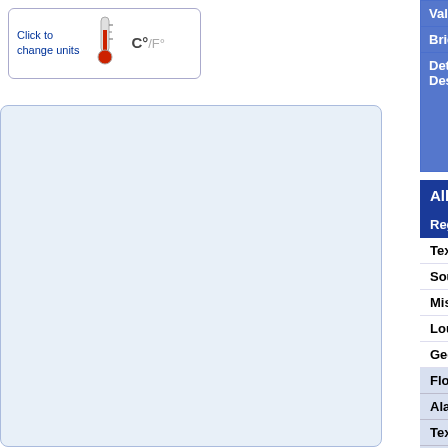Click to change units C° F°
|  | Valid Until | Brief Description | Detailed Description |
| --- | --- | --- | --- |
| Valid Until | Wed, 31 Aug 2011 11:00:00 PDT |
| Brief Description | Dense Fog Advisory |
| Detailed Description | DENSE FOG ADVISORY IN EFFECT... PDT WEDNESDAY. * WHAT. Dense fo... visibility to 1 mile or less at times. * W... waters from Cascade Head to Florenc... NM. * WHEN. Until 11 AM PDT Wedn... IMPACTS. Low visibility will make nav... |
All Alerts
| Region | Alert |
| --- | --- |
| Texas | Flas... |
| South Dakota | Floo... |
| Mississippi | Floo... |
| Louisiana | Floo... |
| Georgia | Floo... |
| Florida | Floo... |
| Alaska | Floo... |
| Texas | Floo... |
| Texas | Urba... |
| Georgia | Urba... |
| Mississippi | Urba... |
| Alaska | Urba... |
| Arizona | Urba... |
| Florida | Urba... |
| Louisiana | Urba... |
| Oregon | Air S... |